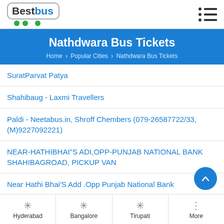[Figure (logo): BestBus logo with bus icon and wheels]
Nathdwara Bus Tickets
Home > Popular Cities > Nathdwara Bus Tickets
SuratParvat Patya
Shahibaug - Laxmi Travellers
Paldi - Neetabus.in, Shroff Chembers (079-26587722/33, (M)9227092221)
NEAR-HATHIBHAI"S ADI,OPP-PUNJAB NATIONAL BANK SHAHIBAGROAD, PICKUP VAN
Near Hathi Bhai'S Add .Opp Punjab National Bank
Hotel Purohit,Nana Chiloda Ringroad
Hyderabad  Bangalore  Tirupati  More